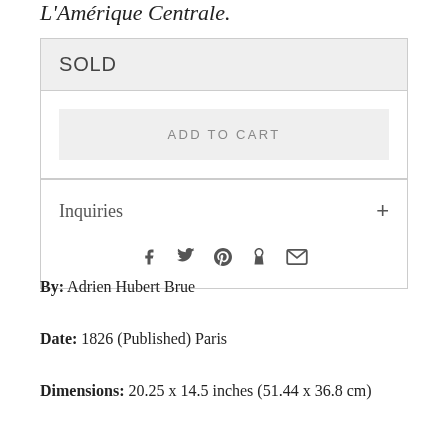L'Amérique Centrale.
SOLD
ADD TO CART
Inquiries
[Figure (other): Social share icons: Facebook, Twitter, Pinterest, Fancy, Email]
By: Adrien Hubert Brue
Date: 1826 (Published) Paris
Dimensions: 20.25 x 14.5 inches (51.44 x 36.8 cm)